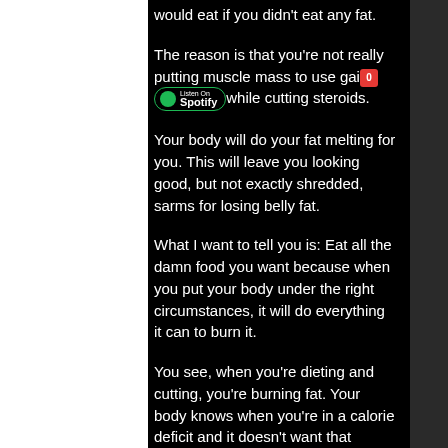would eat if you didn't eat any fat.
The reason is that you're not really putting muscle mass to use gaining while cutting steroids.
Your body will do your fat melting for you. This will leave you looking good, but not exactly shredded, sarms for losing belly fat.
What I want to tell you is: Eat all the damn food you want because when you put your body under the right circumstances, it will do everything it can to burn it.
You see, when you're dieting and cutting, you're burning fat. Your body knows when you're in a calorie deficit and it doesn't want that weight to remain. It wants nothing to do with it, lose weight while on steroids0.